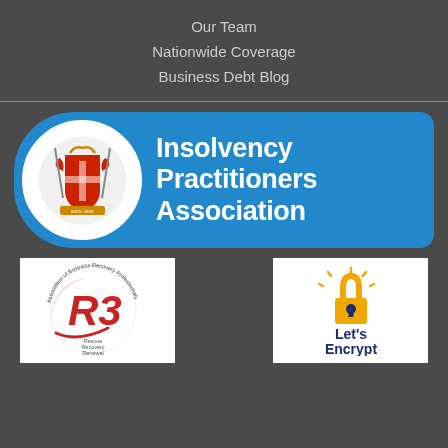Our Team
Nationwide Coverage
Business Debt Blog
[Figure (logo): Insolvency Practitioners Association logo — blue rounded banner with coat of arms crest in white circle on left and white bold text 'Insolvency Practitioners Association' on right]
[Figure (logo): R3 Association of Business Recovery Professionals logo — circular design with R3 text and tagline Rescue Recovery Renewal]
[Figure (logo): Let's Encrypt logo — padlock icon with Let's Encrypt text in navy blue and orange]